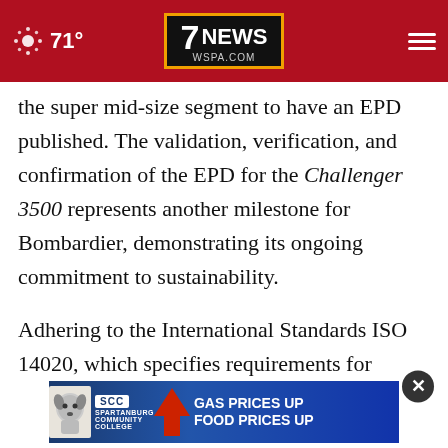71° | 7NEWS WSPA.COM
the super mid-size segment to have an EPD published. The validation, verification, and confirmation of the EPD for the Challenger 3500 represents another milestone for Bombardier, demonstrating its ongoing commitment to sustainability.
Adhering to the International Standards ISO 14020, which specifies requirements for environmental claims, and science-based life cycle analysis delivers a comprehensive overview of an
[Figure (screenshot): Advertisement banner for Spartanburg Community College with text 'GAS PRICES UP FOOD PRICES UP' and a red arrow, with a close (X) button overlay]